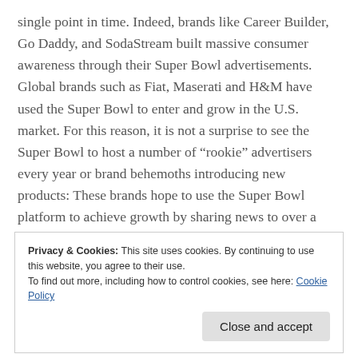single point in time. Indeed, brands like Career Builder, Go Daddy, and SodaStream built massive consumer awareness through their Super Bowl advertisements. Global brands such as Fiat, Maserati and H&M have used the Super Bowl to enter and grow in the U.S. market. For this reason, it is not a surprise to see the Super Bowl to host a number of “rookie” advertisers every year or brand behemoths introducing new products: These brands hope to use the Super Bowl platform to achieve growth by sharing news to over a hundred million consumers.
Second, the Super Bowl can create growth for an existing brand. The sheer size of the audience is attractive, for
Privacy & Cookies: This site uses cookies. By continuing to use this website, you agree to their use.
To find out more, including how to control cookies, see here: Cookie Policy
Close and accept
served as the very platform by which brands such as Chrysler,